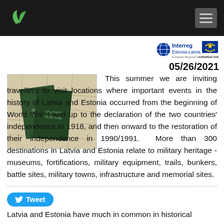Navigation header with leaf logo and hamburger menu
[Figure (logo): Interreg Estonia-Latvia and European Union logos]
05/26/2021
[Figure (photo): Two dark green guidebooks/travel books lying on a map]
This summer we are inviting travellers to visit locations where important events in the history of Latvia and Estonia occurred from the beginning of World War I and up to the declaration of the two countries' independence in 1918, and then onward to the restoration of their independence in 1990/1991. More than 300 destinations in Latvia and Estonia relate to military heritage - museums, fortifications, military equipment, trails, bunkers, battle sites, military towns, infrastructure and memorial sites.
Tweet
Latvia and Estonia have much in common in historical